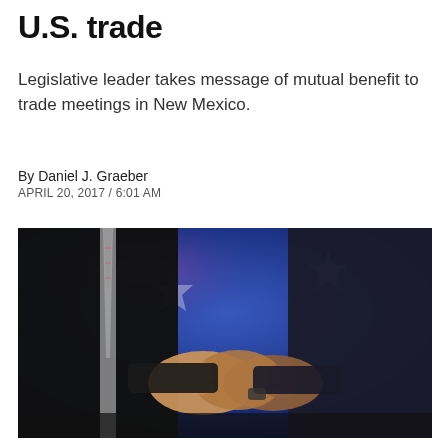U.S. trade
Legislative leader takes message of mutual benefit to trade meetings in New Mexico.
By Daniel J. Graeber
APRIL 20, 2017 / 6:01 AM
[Figure (photo): Two people in suits shaking hands in front of a blue background with white stars, representing a diplomatic or trade meeting.]